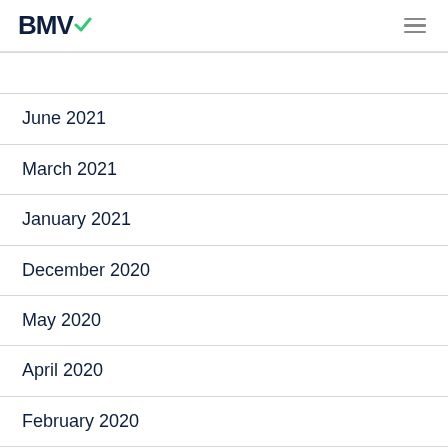BMV
June 2021
March 2021
January 2021
December 2020
May 2020
April 2020
February 2020
October 2019
September 2019
August 2019 (partial)